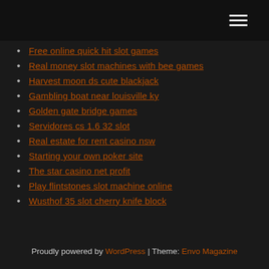Free online quick hit slot games
Real money slot machines with bee games
Harvest moon ds cute blackjack
Gambling boat near louisville ky
Golden gate bridge games
Servidores cs 1.6 32 slot
Real estate for rent casino nsw
Starting your own poker site
The star casino net profit
Play flintstones slot machine online
Wusthof 35 slot cherry knife block
Proudly powered by WordPress | Theme: Envo Magazine